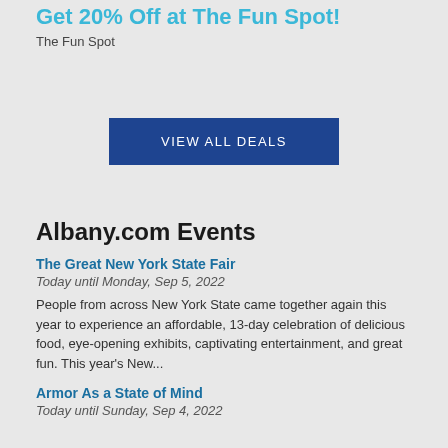Get 20% Off at The Fun Spot!
The Fun Spot
[Figure (other): VIEW ALL DEALS button - dark blue rectangular button with white uppercase text]
Albany.com Events
The Great New York State Fair
Today until Monday, Sep 5, 2022
People from across New York State came together again this year to experience an affordable, 13-day celebration of delicious food, eye-opening exhibits, captivating entertainment, and great fun. This year's New...
Armor As a State of Mind
Today until Sunday, Sep 4, 2022